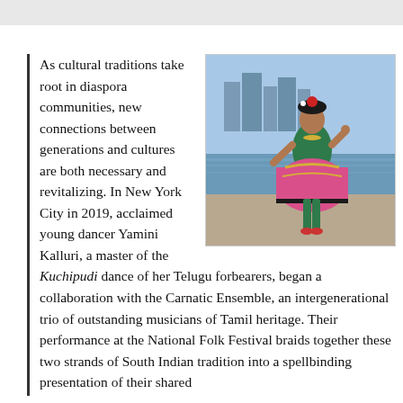[Figure (photo): A young woman performing Kuchipudi classical Indian dance outdoors, wearing a vibrant pink and green traditional costume with jewelry, dancing near a waterfront with a city skyline in the background.]
As cultural traditions take root in diaspora communities, new connections between generations and cultures are both necessary and revitalizing. In New York City in 2019, acclaimed young dancer Yamini Kalluri, a master of the Kuchipudi dance of her Telugu forbearers, began a collaboration with the Carnatic Ensemble, an intergenerational trio of outstanding musicians of Tamil heritage. Their performance at the National Folk Festival braids together these two strands of South Indian tradition into a spellbinding presentation of their shared